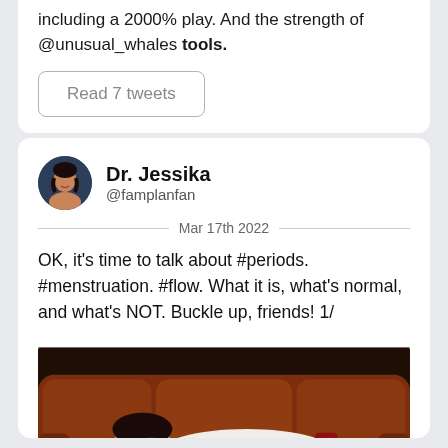including a 2000% play. And the strength of @unusual_whales tools.
Read 7 tweets
Dr. Jessika
@famplanfan
Mar 17th 2022
OK, it's time to talk about #periods. #menstruation. #flow. What it is, what's normal, and what's NOT. Buckle up, friends! 1/
[Figure (photo): Person with glasses lying on a brown couch holding a red hot water bottle, wrapped in a white knit sweater]